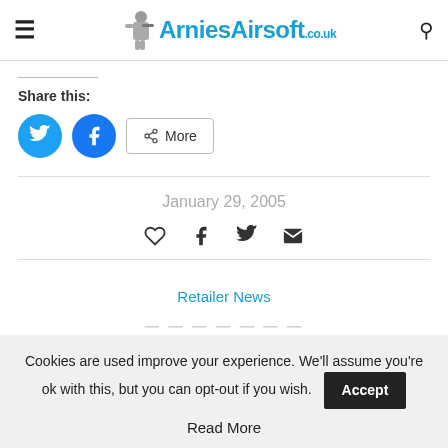ArniesAirsoft.co.uk
Share this:
[Figure (infographic): Share buttons row: Twitter (blue circle), Facebook (blue circle), More (outlined button with share icon)]
January 29, 2005
[Figure (infographic): Social action icons row: heart (like), Facebook f, Twitter bird, envelope (email)]
Retailer News
Cookies are used improve your experience. We'll assume you're ok with this, but you can opt-out if you wish.
Accept
Read More